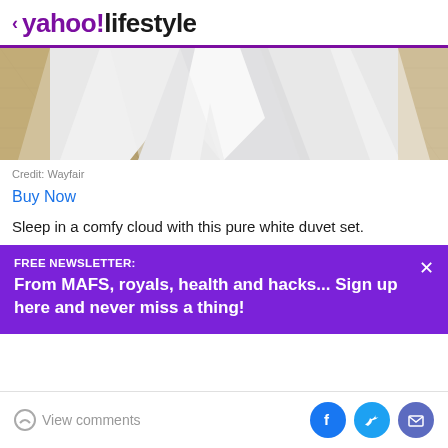< yahoo!lifestyle
[Figure (photo): Photo of a white duvet/bed sheet set at the base of a bed on a woven rug floor, showing the draped white fabric against a beige/wicker background.]
Credit: Wayfair
Buy Now
Sleep in a comfy cloud with this pure white duvet set.
FREE NEWSLETTER:
From MAFS, royals, health and hacks... Sign up here and never miss a thing!
View comments